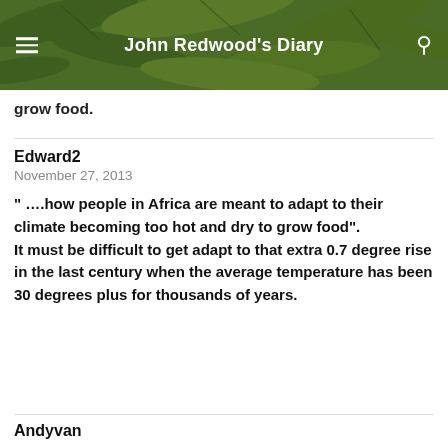[Figure (photo): Green plant leaves background for blog header]
John Redwood's Diary
grow food.
Edward2
November 27, 2013
" ….how people in Africa are meant to adapt to their climate becoming too hot and dry to grow food".
It must be difficult to get adapt to that extra 0.7 degree rise in the last century when the average temperature has been 30 degrees plus for thousands of years.
Andyvan